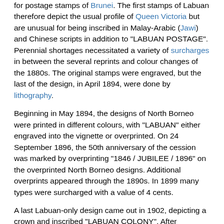for postage stamps of Brunei. The first stamps of Labuan therefore depict the usual profile of Queen Victoria but are unusual for being inscribed in Malay-Arabic (Jawi) and Chinese scripts in addition to "LABUAN POSTAGE". Perennial shortages necessitated a variety of surcharges in between the several reprints and colour changes of the 1880s. The original stamps were engraved, but the last of the design, in April 1894, were done by lithography.
Beginning in May 1894, the designs of North Borneo were printed in different colours, with "LABUAN" either engraved into the vignette or overprinted. On 24 September 1896, the 50th anniversary of the cession was marked by overprinting "1846 / JUBILEE / 1896" on the overprinted North Borneo designs. Additional overprints appeared through the 1890s. In 1899 many types were surcharged with a value of 4 cents.
A last Labuan-only design came out in 1902, depicting a crown and inscribed "LABUAN COLONY". After incorporation into the Straits Settlements in 1906, Labuan ceased issuing its own stamps, although they remained valid for some time. Many of the remainders were cancelled-to-order for sale to collectors and are now worth only pennies; genuine postal uses are worth much more.